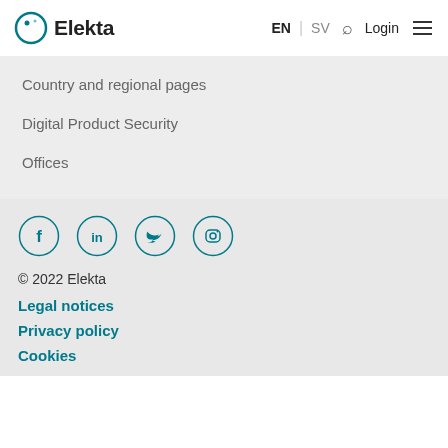Elekta | EN | SV | Login
Country and regional pages
Digital Product Security
Offices
[Figure (illustration): Four social media icons in teal circles: Facebook (f), LinkedIn (in), Twitter (bird), Instagram (camera)]
© 2022 Elekta
Legal notices
Privacy policy
Cookies